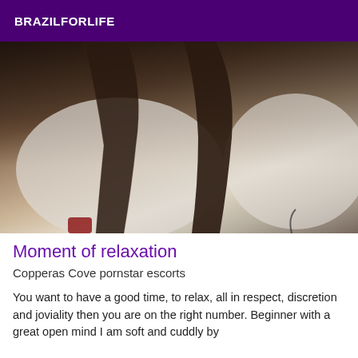BRAZILFORLIFE
[Figure (photo): Close-up photo of legs in fishnet stockings on a white bed with pillows]
Moment of relaxation
Copperas Cove pornstar escorts
You want to have a good time, to relax, all in respect, discretion and joviality then you are on the right number. Beginner with a great open mind I am soft and cuddly by